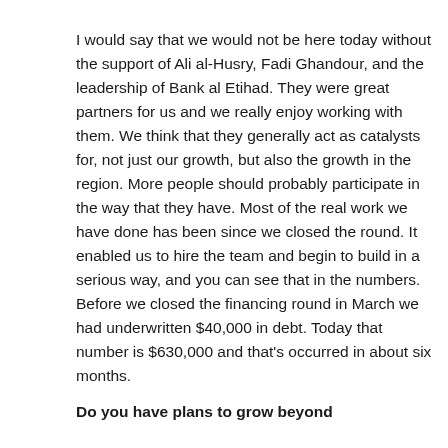I would say that we would not be here today without the support of Ali al-Husry, Fadi Ghandour, and the leadership of Bank al Etihad. They were great partners for us and we really enjoy working with them. We think that they generally act as catalysts for, not just our growth, but also the growth in the region. More people should probably participate in the way that they have. Most of the real work we have done has been since we closed the round. It enabled us to hire the team and begin to build in a serious way, and you can see that in the numbers. Before we closed the financing round in March we had underwritten $40,000 in debt. Today that number is $630,000 and that's occurred in about six months.
Do you have plans to grow beyond Arab...?